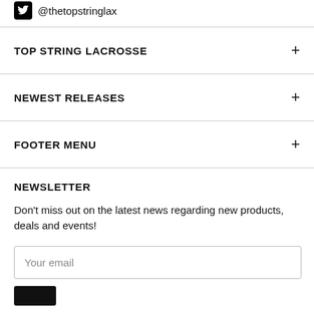@thetopstringlax
TOP STRING LACROSSE
NEWEST RELEASES
FOOTER MENU
NEWSLETTER
Don't miss out on the latest news regarding new products, deals and events!
Your email